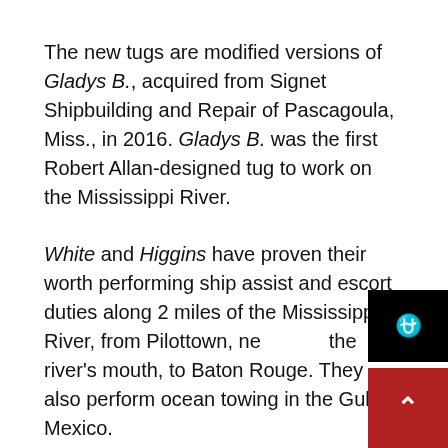The new tugs are modified versions of Gladys B., acquired from Signet Shipbuilding and Repair of Pascagoula, Miss., in 2016. Gladys B. was the first Robert Allan-designed tug to work on the Mississippi River.
White and Higgins have proven their worth performing ship assist and escort duties along 2 miles of the Mississippi River, from Pilottown, near the river's mouth, to Baton Rouge. They also perform ocean towing in the Gulf of Mexico.
“We’ve worked several jobs from Key West to Brownsville, Texas, and in ports, in all weather in between,” said Luis Solano, a veteran of 32 years at E.N. Bisso, and captain of A. Thomas Higgins. “This boat is extremely stable in the Mississippi River,